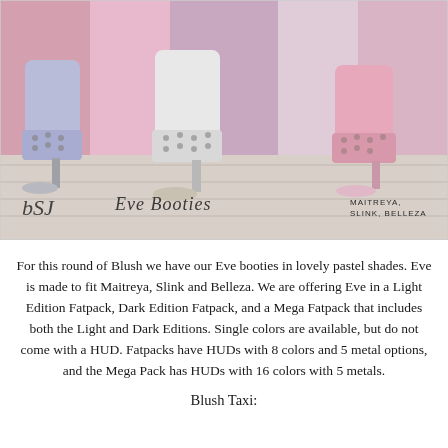[Figure (photo): Product photo showing Eve Booties high-heel shoes in pastel shades (lavender/blue, white/silver, pink), decorated with studded ankle cuffs. Text overlay reads 'Eve Booties' with a logo and 'MAITREYA, SLINK, BELLEZA' in the corner.]
For this round of Blush we have our Eve booties in lovely pastel shades. Eve is made to fit Maitreya, Slink and Belleza. We are offering Eve in a Light Edition Fatpack, Dark Edition Fatpack, and a Mega Fatpack that includes both the Light and Dark Editions. Single colors are available, but do not come with a HUD. Fatpacks have HUDs with 8 colors and 5 metal options, and the Mega Pack has HUDs with 16 colors with 5 metals.
Blush Taxi: